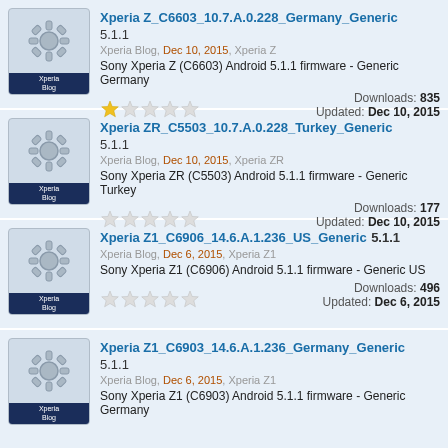Xperia Z_C6603_10.7.A.0.228_Germany_Generic 5.1.1
Xperia Blog, Dec 10, 2015, Xperia Z
Sony Xperia Z (C6603) Android 5.1.1 firmware - Generic Germany
Rating: 1/5 stars
Downloads: 835
Updated: Dec 10, 2015
Xperia ZR_C5503_10.7.A.0.228_Turkey_Generic 5.1.1
Xperia Blog, Dec 10, 2015, Xperia ZR
Sony Xperia ZR (C5503) Android 5.1.1 firmware - Generic Turkey
Rating: 0/5 stars
Downloads: 177
Updated: Dec 10, 2015
Xperia Z1_C6906_14.6.A.1.236_US_Generic 5.1.1
Xperia Blog, Dec 6, 2015, Xperia Z1
Sony Xperia Z1 (C6906) Android 5.1.1 firmware - Generic US
Rating: 0/5 stars
Downloads: 496
Updated: Dec 6, 2015
Xperia Z1_C6903_14.6.A.1.236_Germany_Generic 5.1.1
Xperia Blog, Dec 6, 2015, Xperia Z1
Sony Xperia Z1 (C6903) Android 5.1.1 firmware - Generic Germany